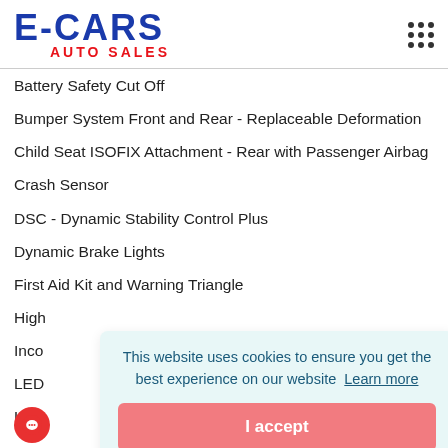E-CARS AUTO SALES
Battery Safety Cut Off
Bumper System Front and Rear - Replaceable Deformation
Child Seat ISOFIX Attachment - Rear with Passenger Airbag
Crash Sensor
DSC - Dynamic Stability Control Plus
Dynamic Brake Lights
First Aid Kit and Warning Triangle
High...
Inco...
LED...
LED...
Remote Control Including Integrated Key - 2
This website uses cookies to ensure you get the best experience on our website  Learn more
I accept